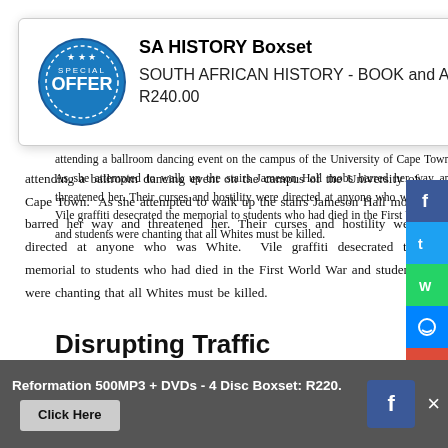[Figure (other): SA HISTORY Boxset popup with offer badge icon. Title: SA HISTORY Boxset. Body: SOUTH AFRICAN HISTORY - BOOK and AUDIO/MP3 Boxset price (including VAT) R240.00. Close button top right.]
attending a ballroom dancing event on the campus of the University of Cape Town.  As she attempted to walk up the stairs Jameson Hall mobs barred her way and threatened her. Their curses and hostility were directed at anyone who was White.  Vile graffiti desecrated the memorial to students who had died in the First World War and students were chanting that all Whites must be killed.
[Figure (infographic): Social sharing buttons: Facebook (blue), Twitter (light blue), WhatsApp (green), Messenger (blue), Google+ (red), Pinterest (dark red), More (grey)]
Disrupting Traffic
[Figure (infographic): Bottom advertisement bar (dark grey): 'Reformation 500MP3 + DVDs - 4 Disc Boxset: R220.' with 'Click Here' button, Facebook icon, and close X button.]